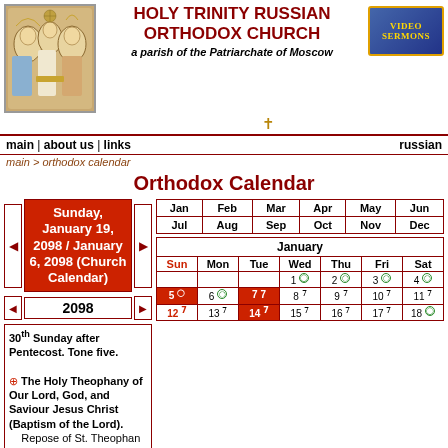[Figure (illustration): Orthodox icon of the Holy Trinity showing three angels seated at a table]
HOLY TRINITY RUSSIAN ORTHODOX CHURCH
a parish of the Patriarchate of Moscow
[Figure (logo): Video Sermons badge/button]
main | about us | links   russian
main > orthodox calendar
Orthodox Calendar
Sunday, January 19, 2098 / January 6, 2098 (Church Calendar)
2098
30th Sunday after Pentecost. Tone five.
⊕ The Holy Theophany of Our Lord, God, and Saviour Jesus Christ (Baptism of the Lord). Repose of St. Theophan the Recluse, bishop of
| Jan | Feb | Mar | Apr | May | Jun | Jul | Aug | Sep | Oct | Nov | Dec |
| --- | --- | --- | --- | --- | --- | --- | --- | --- | --- | --- | --- |
| Jan | Feb | Mar | Apr | May | Jun |
| Jul | Aug | Sep | Oct | Nov | Dec |
| Sun | Mon | Tue | Wed | Thu | Fri | Sat |
| --- | --- | --- | --- | --- | --- | --- |
|  |  |  | 1 | 2 | 3 | 4 |
| 5 | 6 | 7 | 8 | 9 | 10 | 11 |
| 12 | 13 | 14 | 15 | 16 | 17 | 18 |